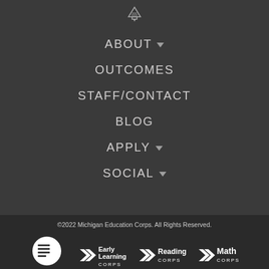[Figure (logo): Pencil icon at top of navigation]
ABOUT ▾
OUTCOMES
STAFF/CONTACT
BLOG
APPLY ▾
SOCIAL ▾
©2022 Michigan Education Corps. All Rights Reserved.
[Figure (logo): AmeriCorps white logo with stacked lines icon]
[Figure (logo): Early Learning Corps white logo with double chevron]
[Figure (logo): Reading Corps white logo with double chevron]
[Figure (logo): Math Corps white logo with double chevron]